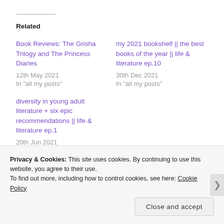Related
Book Reviews: The Grisha Trilogy and The Princess Diaries
12th May 2021
In "all my posts"
my 2021 bookshelf || the best books of the year || life & literature ep.10
30th Dec 2021
In "all my posts"
diversity in young adult literature + six epic recommendations || life & literature ep.1
20th Jun 2021
In "bookish musings"
Privacy & Cookies: This site uses cookies. By continuing to use this website, you agree to their use.
To find out more, including how to control cookies, see here: Cookie Policy
Close and accept